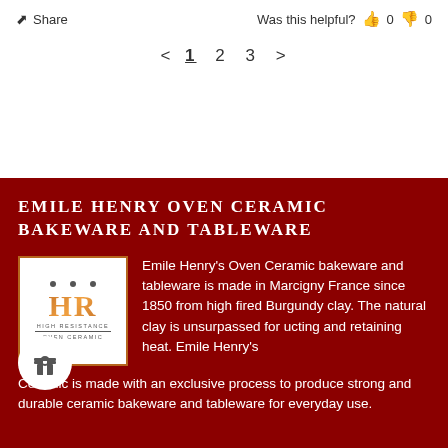Share   Was this helpful?  👍 0  👎 0
< 1 2 3 >
EMILE HENRY OVEN CERAMIC BAKEWARE AND TABLEWARE
[Figure (logo): Emile Henry HR High Resistance Oven Ceramic logo with stylized HR letters on orange gradient background, white border, oven dots on top]
Emile Henry's Oven Ceramic bakeware and tableware is made in Marcigny France since 1850 from high fired Burgundy clay. The natural clay is unsurpassed for conducting and retaining heat. Emile Henry's Oven Ceramic is made with an exclusive process to produce strong and durable ceramic bakeware and tableware for everyday use.